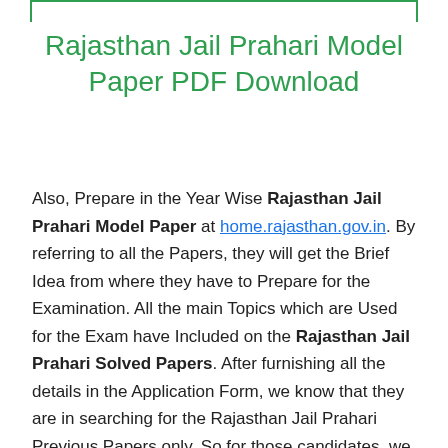Rajasthan Jail Prahari Model Paper PDF Download
Also, Prepare in the Year Wise Rajasthan Jail Prahari Model Paper at home.rajasthan.gov.in. By referring to all the Papers, they will get the Brief Idea from where they have to Prepare for the Examination. All the main Topics which are Used for the Exam have Included on the Rajasthan Jail Prahari Solved Papers. After furnishing all the details in the Application Form, we know that they are in searching for the Rajasthan Jail Prahari Previous Papers only. So for those candidates, we are here to Proceed with the Solved papers for the sake of Preparation Purpose. So at the time of the